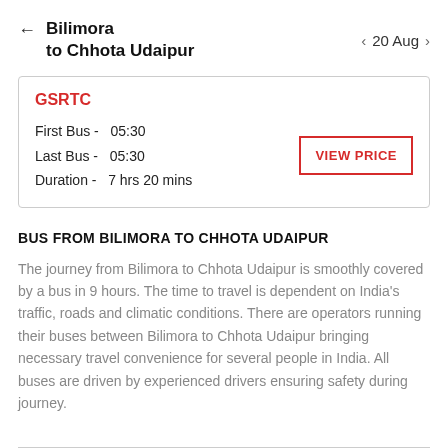← Bilimora to Chhota Udaipur   〈 20 Aug 〉
| GSRTC |
| First Bus - | 05:30 |
| Last Bus - | 05:30 |
| Duration - | 7 hrs 20 mins |
| VIEW PRICE |
BUS FROM BILIMORA TO CHHOTA UDAIPUR
The journey from Bilimora to Chhota Udaipur is smoothly covered by a bus in 9 hours. The time to travel is dependent on India's traffic, roads and climatic conditions. There are operators running their buses between Bilimora to Chhota Udaipur bringing necessary travel convenience for several people in India. All buses are driven by experienced drivers ensuring safety during journey.